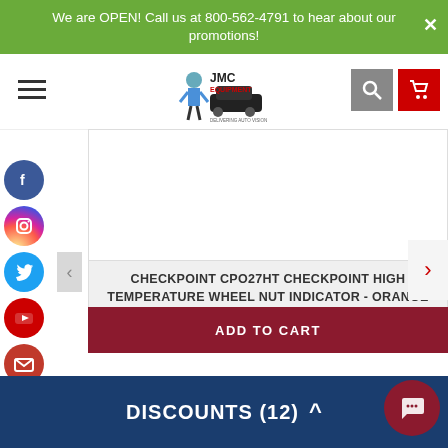We are OPEN! Call us at 800-562-4791 to hear about our promotions!
[Figure (logo): JMC Equipment logo with mechanic mascot]
CHECKPOINT CPO27HT CHECKPOINT HIGH TEMPERATURE WHEEL NUT INDICATOR - ORANGE 11/16 IN (27 MM) (BAG OF 100 PCS)
$85.00 $81.00
ADD TO CART
DISCOUNTS (12)